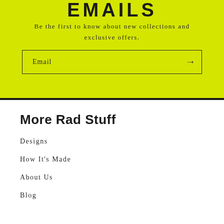EMAILS
Be the first to know about new collections and exclusive offers.
Email →
More Rad Stuff
Designs
How It's Made
About Us
Blog